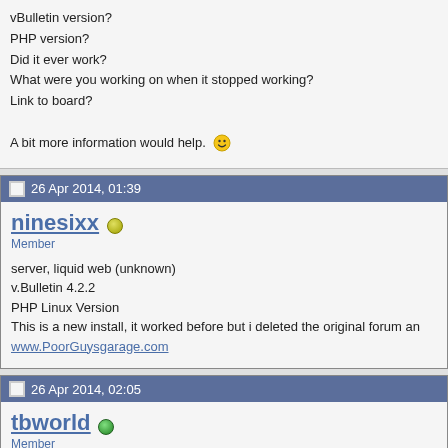vBulletin version?
PHP version?
Did it ever work?
What were you working on when it stopped working?
Link to board?

A bit more information would help. :)
26 Apr 2014, 01:39
ninesixx
Member
server, liquid web (unknown)
v.Bulletin 4.2.2
PHP Linux Version
This is a new install, it worked before but i deleted the original forum and...
www.PoorGuysgarage.com
26 Apr 2014, 02:05
tbworld
Member
1.) PM me a temporary account username/password. I will take a look.

2.) From vBulletin Admin Control Panel run PHPINFO from the diagnost...